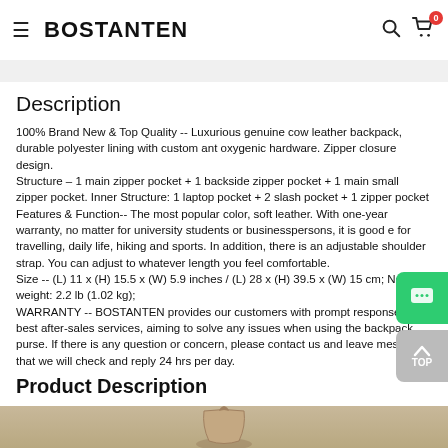BOSTANTEN
Description
100% Brand New & Top Quality -- Luxurious genuine cow leather backpack, durable polyester lining with custom ant oxygenic hardware. Zipper closure design.
Structure – 1 main zipper pocket + 1 backside zipper pocket + 1 main small zipper pocket. Inner Structure: 1 laptop pocket + 2 slash pocket + 1 zipper pocket
Features & Function-- The most popular color, soft leather. With one-year warranty, no matter for university students or businesspersons, it is good e for travelling, daily life, hiking and sports. In addition, there is an adjustable shoulder strap. You can adjust to whatever length you feel comfortable.
Size -- (L) 11 x (H) 15.5 x (W) 5.9 inches / (L) 28 x (H) 39.5 x (W) 15 cm; Net weight: 2.2 lb (1.02 kg);
WARRANTY -- BOSTANTEN provides our customers with prompt responses and best after-sales services, aiming to solve any issues when using the backpack purse. If there is any question or concern, please contact us and leave message that we will check and reply 24 hrs per day.
Product Description
[Figure (photo): Product photo of a leather backpack, partially visible at bottom of page]